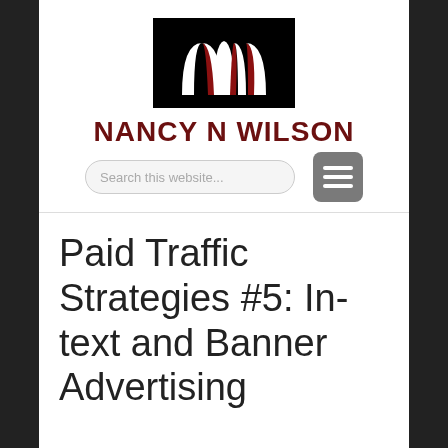[Figure (logo): Nancy N Wilson website logo: black background with stylized red and white arch/wing design]
NANCY N WILSON
Search this website...
Paid Traffic Strategies #5: In-text and Banner Advertising